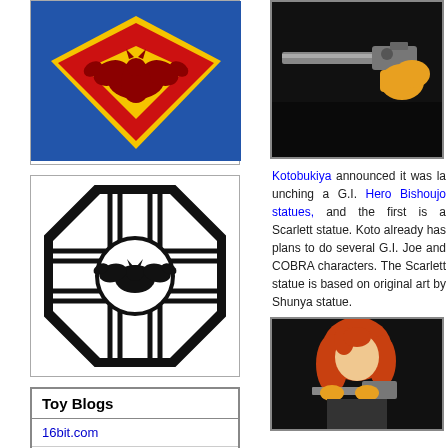[Figure (logo): Superman-style logo with bat silhouette on blue background with red shield and yellow]
[Figure (logo): Octagonal DHARMA Initiative-style logo with bat silhouette in center]
| Toy Blogs |
| --- |
| 16bit.com |
| Action Figure Insider |
[Figure (photo): Figure holding a gun against black background]
Kotobukiya announced it was launching a G.I. Hero Bishoujo statues, and the first is a Scarlett statue. Koto already has plans to do several G.I. Joe and COBRA characters. The Scarlett statue is based on original art by Shunya Yamashita. Nice statue.
[Figure (photo): Anime-style female figure with red/orange hair holding a gun against black background]